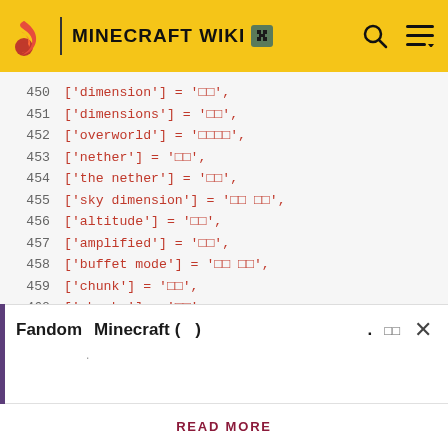MINECRAFT WIKI
450    ['dimension'] = '□□',
451    ['dimensions'] = '□□',
452    ['overworld'] = '□□□□',
453    ['nether'] = '□□',
454    ['the nether'] = '□□',
455    ['sky dimension'] = '□□ □□',
456    ['altitude'] = '□□',
457    ['amplified'] = '□□',
458    ['buffet mode'] = '□□ □□',
459    ['chunk'] = '□□',
460    ['chunks'] = '□□',
461    ['cloud'] = '□□',
462    ['clouds'] = '□□',
463    ['debug mode'] = '□□□ □□',
464    ['entities'] = '□□'
Fandom  Minecraft (  ) .  □□  ×
READ MORE